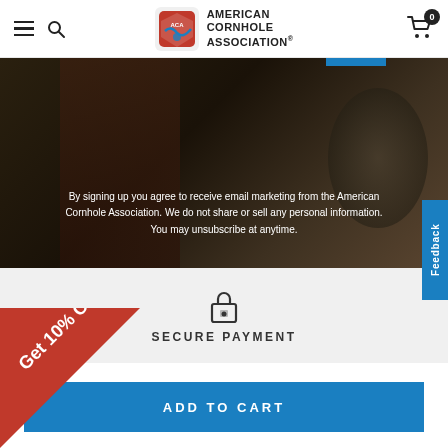American Cornhole Association
[Figure (photo): Dark overlay image with a person and car in background, with blue accent bar at top right]
By signing up you agree to receive email marketing from the American Cornhole Association. We do not share or sell any personal information. You may unsubscribe at anytime.
[Figure (illustration): Lock/secure payment icon]
SECURE PAYMENT
ADD TO CART
[Figure (infographic): Red diagonal ribbon banner with text 'Get 10% Off']